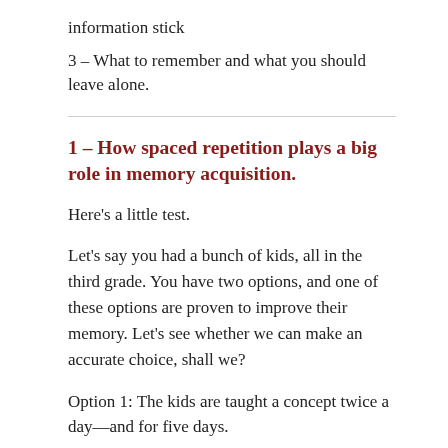information stick
3 – What to remember and what you should leave alone.
1 – How spaced repetition plays a big role in memory acquisition.
Here's a little test.
Let's say you had a bunch of kids, all in the third grade. You have two options, and one of these options are proven to improve their memory. Let's see whether we can make an accurate choice, shall we?
Option 1: The kids are taught a concept twice a day—and for five days.